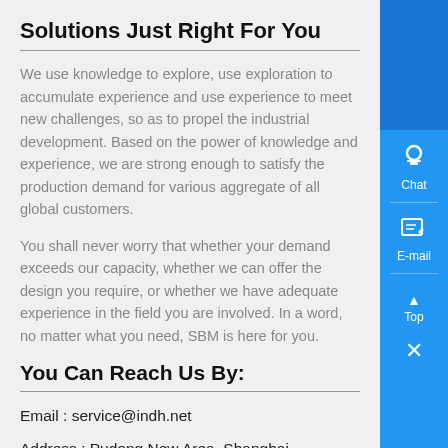Solutions Just Right For You
We use knowledge to explore, use exploration to accumulate experience and use experience to meet new challenges, so as to propel the industrial development. Based on the power of knowledge and experience, we are strong enough to satisfy the production demand for various aggregate of all global customers.
You shall never worry that whether your demand exceeds our capacity, whether we can offer the design you require, or whether we have adequate experience in the field you are involved. In a word, no matter what you need, SBM is here for you.
You Can Reach Us By:
Email : service@indh.net
Address : Pudong New Area, Shanghai
Phone : 021-58386666
Product Information: